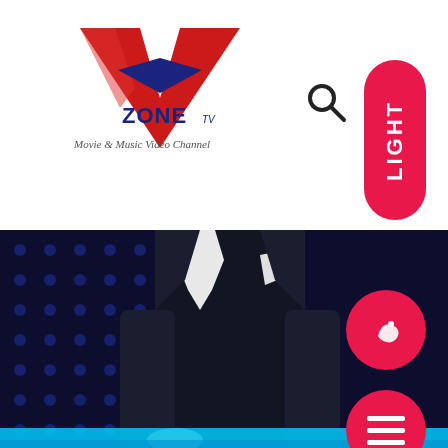[Figure (logo): VZone TV logo — large red V shape with blue arrow accent and text 'ZONE TV', subtitle 'Movie & Music Video Channel' in italic script]
[Figure (other): Search icon (magnifying glass, black outline)]
[Figure (other): Hamburger/menu icon (three horizontal lines, black)]
[Figure (other): Pink/red vertical pill button with white text 'LIGHT' written vertically]
[Figure (other): Pink/red circle button with white play/dolphin icon]
[Figure (other): Pink/red circle button with three white horizontal lines (menu)]
[Figure (photo): Man in dark suit standing in front of blue LED dotted background with cyan/blue light strip at bottom — TV show set]